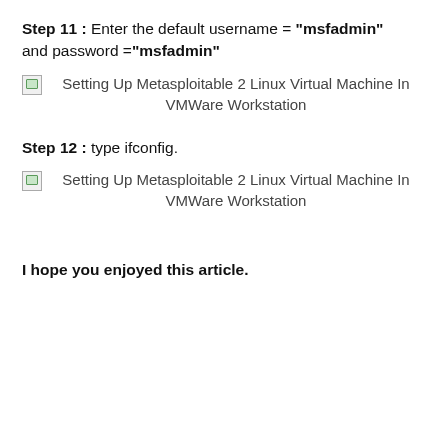Step 11 : Enter the default username = "msfadmin" and password ="msfadmin"
[Figure (screenshot): Broken image placeholder with caption: Setting Up Metasploitable 2 Linux Virtual Machine In VMWare Workstation]
Step 12 : type ifconfig.
[Figure (screenshot): Broken image placeholder with caption: Setting Up Metasploitable 2 Linux Virtual Machine In VMWare Workstation]
I hope you enjoyed this article.